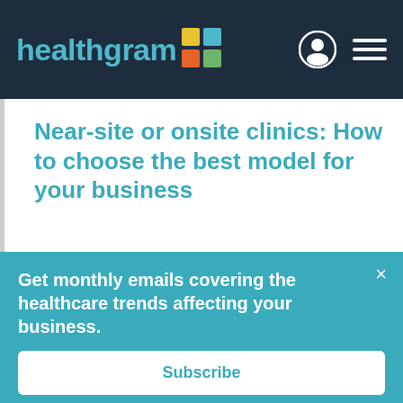healthgram
Near-site or onsite clinics: How to choose the best model for your business
While the end goals of both near-site and onsite clinics may be the same, choosing the right care model is important.
Get monthly emails covering the healthcare trends affecting your business.
Subscribe